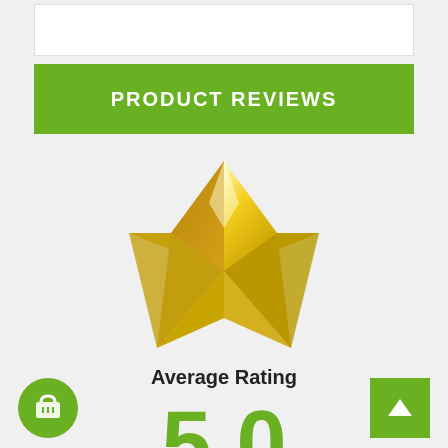PRODUCT REVIEWS
[Figure (illustration): 3D golden star illustration representing a product rating]
Average Rating
5.0